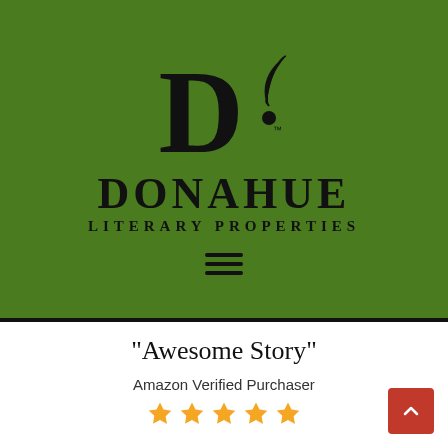[Figure (logo): Donahue Literary Properties logo on green background: large bold D with feather quill exclamation mark, DONAHUE in large letters, LITERARY PROPERTIES below, hamburger menu icon at bottom]
"Awesome Story"
Amazon Verified Purchaser
[Figure (illustration): Five orange/gold filled star rating icons]